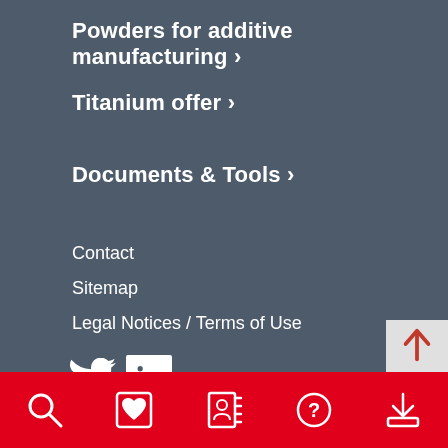Powders for additive manufacturing ›
Titanium offer ›
Documents & Tools ›
Contact
Sitemap
Legal Notices / Terms of Use
[Figure (logo): Twitter and LinkedIn social media icons]
© Aubert & Duval 2022
[Figure (infographic): Red bottom navigation bar with five icons: search (magnifying glass), favorites (heart in square), contact (person in book), help (question mark in circle), and download (tray with arrow)]